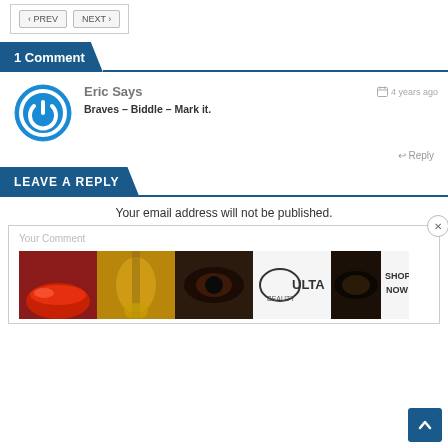< PREV  NEXT >
1 Comment
Eric Says
4 years ago
Braves – Biddle – Mark it.
Reply
LEAVE A REPLY
Your email address will not be published.
Your Comment
[Figure (photo): Ulta Beauty advertisement banner with makeup product images and SHOP NOW text]